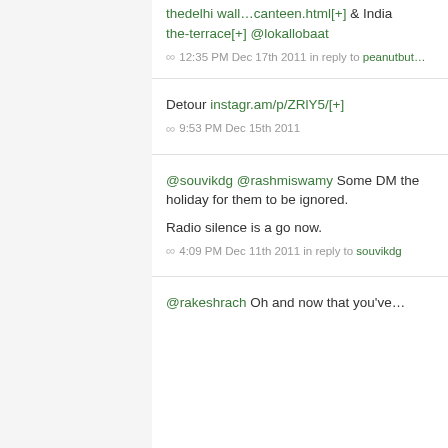thedelhi wall…canteen.html[+] & india the-terrace[+] @lokallobaat
∞ 12:35 PM Dec 17th 2011 in reply to peanutbut…
Detour instagr.am/p/ZRlY5/[+]
∞ 9:53 PM Dec 15th 2011
@souvikdg @rashmiswamy Some DM the holiday for them to be ignored.

Radio silence is a go now.
∞ 4:09 PM Dec 11th 2011 in reply to souvikdg
@rakeshrach Oh and now that you've…